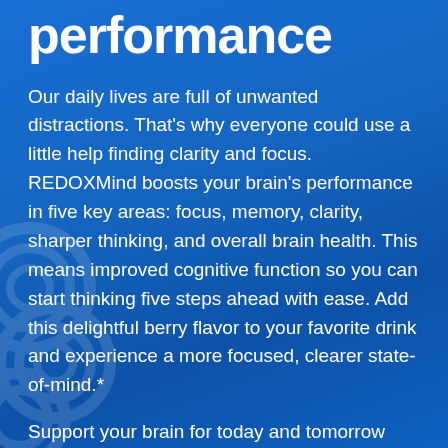performance
Our daily lives are full of unwanted distractions. That's why everyone could use a little help finding clarity and focus. REDOXMind boosts your brain's performance in five key areas: focus, memory, clarity, sharper thinking, and overall brain health. This means improved cognitive function so you can start thinking five steps ahead with ease. Add this delightful berry flavor to your favorite drink and experience a more focused, clearer state-of-mind.*
Support your brain for today and tomorrow